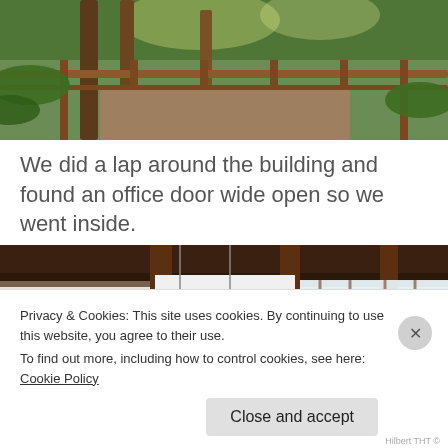[Figure (photo): Outdoor path with wooden railing through lush tropical forest with tall trees and ferns]
We did a lap around the building and found an office door wide open so we went inside.
[Figure (photo): Interior of a building with wooden beams, columns, open plan space, large windows with natural light]
Privacy & Cookies: This site uses cookies. By continuing to use this website, you agree to their use.
To find out more, including how to control cookies, see here: Cookie Policy
Close and accept